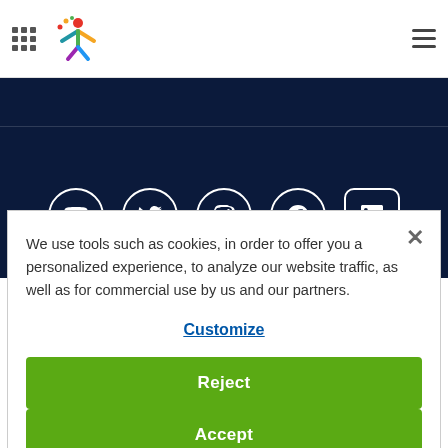Navigation header with grid icon, logo, and hamburger menu
[Figure (screenshot): Dark navy banner with social media icons: YouTube, Twitter, Instagram, Facebook, LinkedIn]
We use tools such as cookies, in order to offer you a personalized experience, to analyze our website traffic, as well as for commercial use by us and our partners.
Customize
Reject
Accept